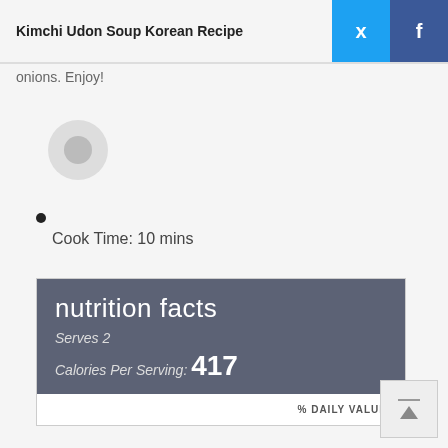Kimchi Udon Soup Korean Recipe
When the noodles are done cooking, mix in sli... Transfer to a serving bowl and garnish with gre... onions. Enjoy!
[Figure (illustration): Circular avatar placeholder icon]
Cook Time: 10 mins
| nutrition facts |
| Serves 2 |
| Calories Per Serving: 417 |
| % DAILY VALUE |